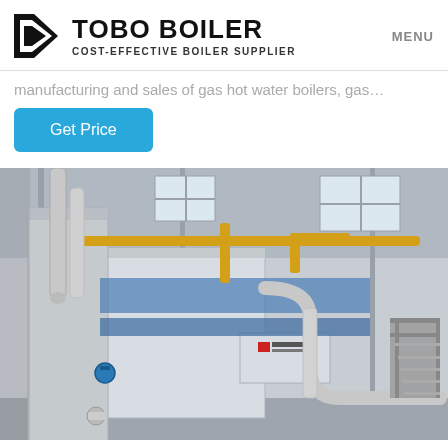TOBO BOILER — COST-EFFECTIVE BOILER SUPPLIER | MENU
manufacturing and sales of gas hot water boilers, gas…
Get Price
[Figure (photo): Industrial boiler facility interior showing large insulated boiler units with silver piping, yellow gas pipes overhead, blue structural elements, and a staircase on the right side of the factory floor.]